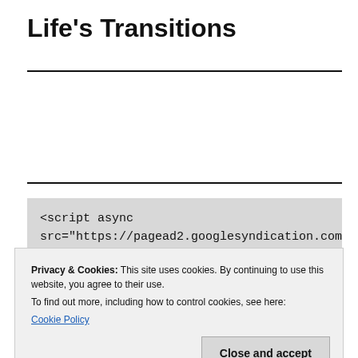Life's Transitions
<script async src="https://pagead2.googlesyndication.com/pagead/js/adsbygoogle.js?client=ca-pub-
Privacy & Cookies: This site uses cookies. By continuing to use this website, you agree to their use.
To find out more, including how to control cookies, see here:
Cookie Policy
Close and accept
BLOGROLL